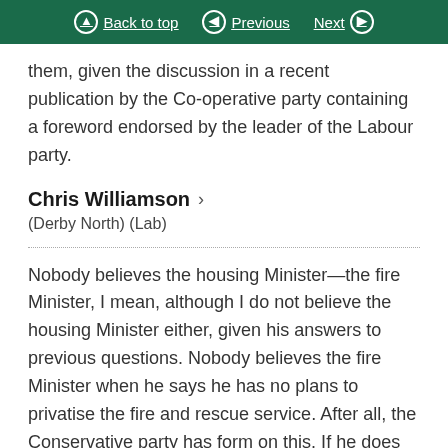Back to top | Previous | Next
them, given the discussion in a recent publication by the Co-operative party containing a foreword endorsed by the leader of the Labour party.
Chris Williamson
(Derby North) (Lab)
Nobody believes the housing Minister—the fire Minister, I mean, although I do not believe the housing Minister either, given his answers to previous questions. Nobody believes the fire Minister when he says he has no plans to privatise the fire and rescue service. After all, the Conservative party has form on this. If he does not want to privatise it, why did he write to the